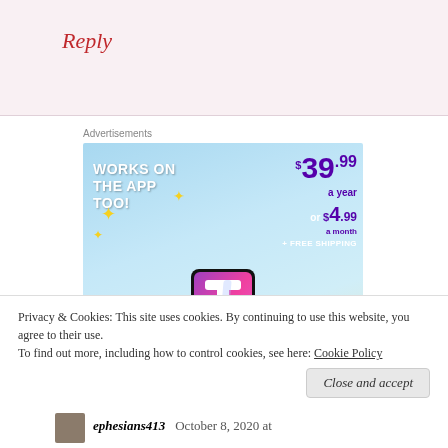Reply
Advertisements
[Figure (illustration): Tumblr ad banner with sky background showing Tumblr 't' logo, text 'WORKS ON THE APP TOO!', pricing '$39.99 a year or $4.99 a month + FREE SHIPPING']
Privacy & Cookies: This site uses cookies. By continuing to use this website, you agree to their use.
To find out more, including how to control cookies, see here: Cookie Policy
Close and accept
ephesians413   October 8, 2020 at